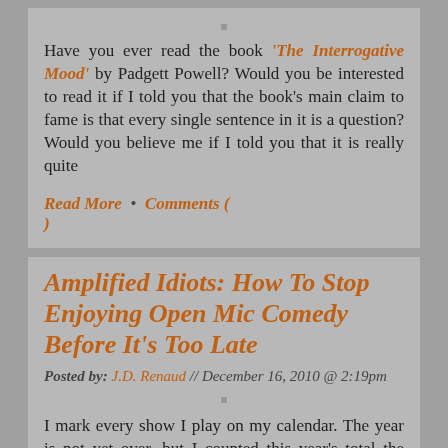Have you ever read the book 'The Interrogative Mood' by Padgett Powell? Would you be interested to read it if I told you that the book's main claim to fame is that every single sentence in it is a question? Would you believe me if I told you that it is really quite
Read More • Comments ( )
Amplified Idiots: How To Stop Enjoying Open Mic Comedy Before It's Too Late
Posted by: J.D. Renaud // December 16, 2010 @ 2:19pm
I mark every show I play on my calendar. The year is not yet over, but I counted this year's total the other day out of curiosity. Fear not though, loyal reader. I will not pester you with the details of my public displays of mediocrity. Saying the number here would